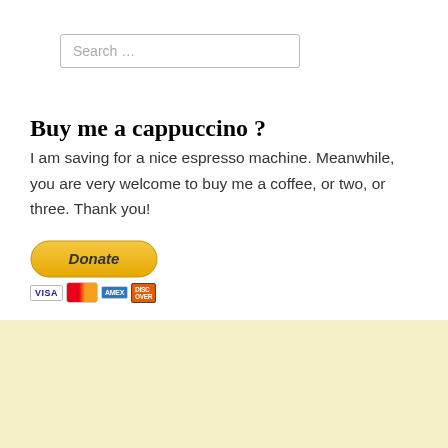Search …
Buy me a cappuccino ?
I am saving for a nice espresso machine. Meanwhile, you are very welcome to buy me a coffee, or two, or three. Thank you!
[Figure (other): PayPal Donate button with VISA, MasterCard, American Express, and Discover card logos beneath it]